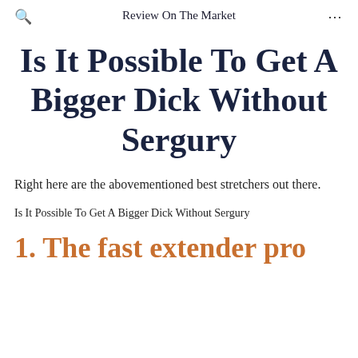Review On The Market
Is It Possible To Get A Bigger Dick Without Sergury
Right here are the abovementioned best stretchers out there.
Is It Possible To Get A Bigger Dick Without Sergury
1. The fast extender pro